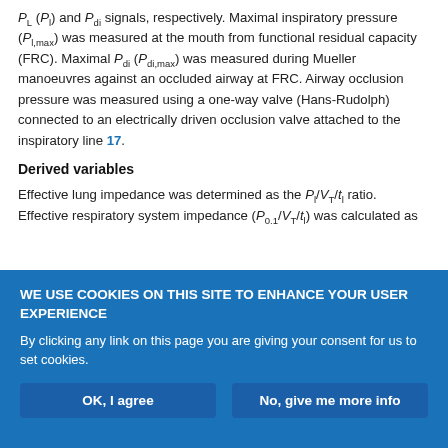P_L (P_l) and P_di signals, respectively. Maximal inspiratory pressure (P_{l,max}) was measured at the mouth from functional residual capacity (FRC). Maximal P_di (P_{di,max}) was measured during Mueller manoeuvres against an occluded airway at FRC. Airway occlusion pressure was measured using a one-way valve (Hans-Rudolph) connected to an electrically driven occlusion valve attached to the inspiratory line 17.
Derived variables
Effective lung impedance was determined as the P_l/V_T/t_l ratio. Effective respiratory system impedance (P_{0.1}/V_T/t_l) was calculated as
WE USE COOKIES ON THIS SITE TO ENHANCE YOUR USER EXPERIENCE
By clicking any link on this page you are giving your consent for us to set cookies.